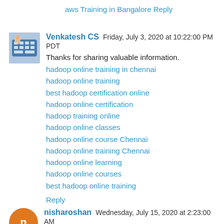aws Training in Bangalore
Reply
Venkatesh CS  Friday, July 3, 2020 at 10:22:00 PM PDT
Thanks for sharing valuable information.
hadoop online training in chennai
hadoop online training
best hadoop certification online
hadoop online certification
hadoop training online
hadoop online classes
hadoop online course Chennai
hadoop online training Chennai
hadoop online learning
hadoop online courses
best hadoop online training
Reply
nisharoshan  Wednesday, July 15, 2020 at 2:23:00 AM